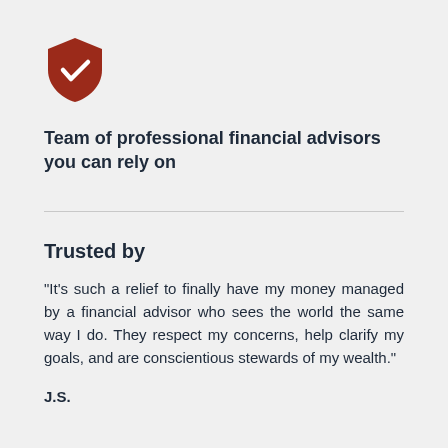[Figure (illustration): Dark red shield icon with a white checkmark in the center]
Team of professional financial advisors you can rely on
Trusted by
“It’s such a relief to finally have my money managed by a financial advisor who sees the world the same way I do. They respect my concerns, help clarify my goals, and are conscientious stewards of my wealth.”
J.S.